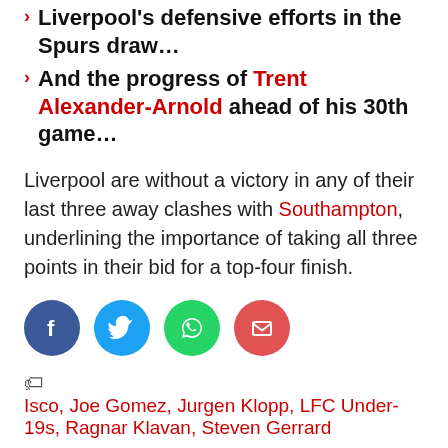Liverpool's defensive efforts in the Spurs draw…
And the progress of Trent Alexander-Arnold ahead of his 30th game…
Liverpool are without a victory in any of their last three away clashes with Southampton, underlining the importance of taking all three points in their bid for a top-four finish.
[Figure (infographic): Social share buttons: Facebook (blue circle), Twitter (light blue circle), WhatsApp (green circle), Email (red circle)]
Isco, Joe Gomez, Jurgen Klopp, LFC Under-19s, Ragnar Klavan, Steven Gerrard
More from This Is Anfield